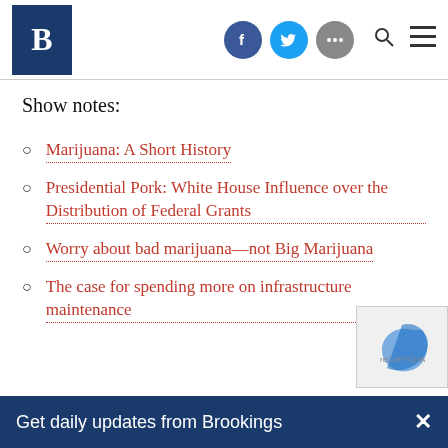Brookings Institution header with logo and social icons
Show notes:
Marijuana: A Short History
Presidential Pork: White House Influence over the Distribution of Federal Grants
Worry about bad marijuana—not Big Marijuana
The case for spending more on infrastructure maintenance
Get daily updates from Brookings